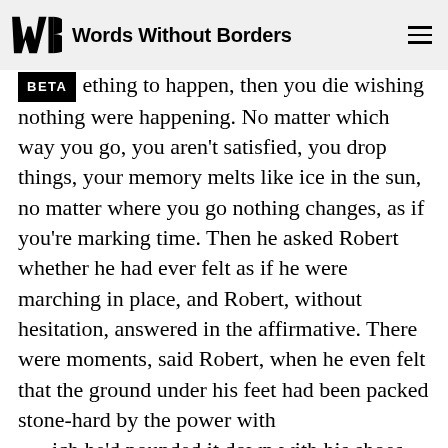Words Without Borders
ething to happen, then you die wishing nothing were happening. No matter which way you go, you aren't satisfied, you drop things, your memory melts like ice in the sun, no matter where you go nothing changes, as if you're marking time. Then he asked Robert whether he had ever felt as if he were marching in place, and Robert, without hesitation, answered in the affirmative. There were moments, said Robert, when he even felt that the ground under his feet had been packed stone-hard by the power with which he'd pounded it down with his shoes while marching in place. Then the waiter who was removing dishes from the table started whistling